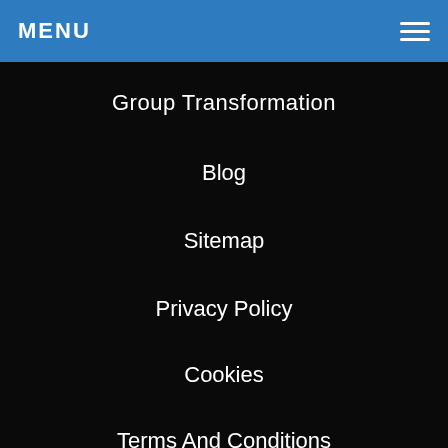MENU
Group Transformation
Blog
Sitemap
Privacy Policy
Cookies
Terms And Conditions
We use cookies on our website to give you the most relevant experience by remembering your preferences and repeat visits. By clicking "Accept All", you consent to the use of ALL the cookies. However, you may visit "Cookie Settings" to provide a controlled consent.
Cookie Settings
Accept All